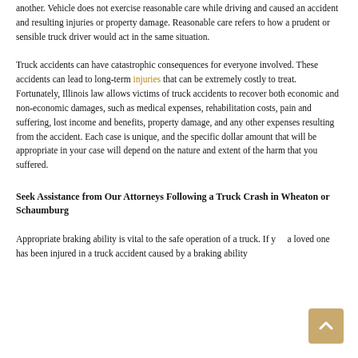another. Vehicle does not exercise reasonable care while driving and caused an accident and resulting injuries or property damage. Reasonable care refers to how a prudent or sensible truck driver would act in the same situation.
Truck accidents can have catastrophic consequences for everyone involved. These accidents can lead to long-term injuries that can be extremely costly to treat. Fortunately, Illinois law allows victims of truck accidents to recover both economic and non-economic damages, such as medical expenses, rehabilitation costs, pain and suffering, lost income and benefits, property damage, and any other expenses resulting from the accident. Each case is unique, and the specific dollar amount that will be appropriate in your case will depend on the nature and extent of the harm that you suffered.
Seek Assistance from Our Attorneys Following a Truck Crash in Wheaton or Schaumburg
Appropriate braking ability is vital to the safe operation of a truck. If you or a loved one has been injured in a truck accident caused by a braking ability problem, it is vital that the facts of an accident be investigated thoroughly.